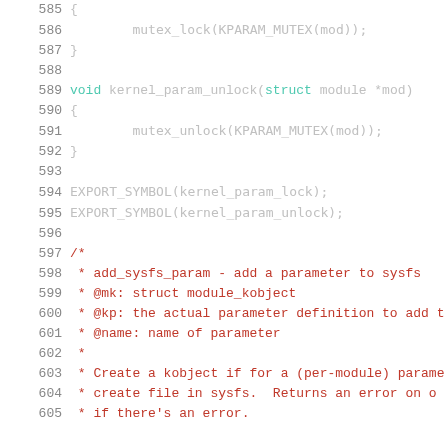Source code listing lines 585-605 showing kernel_param_lock/unlock functions and comment block for add_sysfs_param